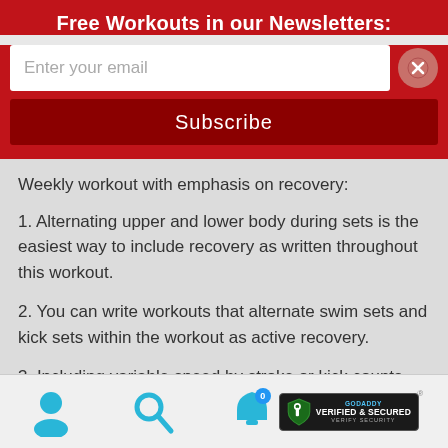Free Workouts in our Newsletters:
[Figure (screenshot): Email subscription form with input field and Subscribe button on red background, with close button]
Weekly workout with emphasis on recovery:
1. Alternating upper and lower body during sets is the easiest way to include recovery as written throughout this workout.
2. You can write workouts that alternate swim sets and kick sets within the workout as active recovery.
3. Including variable speed by stroke or kick counts adds
[Figure (infographic): Bottom navigation bar with user icon, search icon, notification bubble with count 0, and GoDaddy Verified and Secured badge]